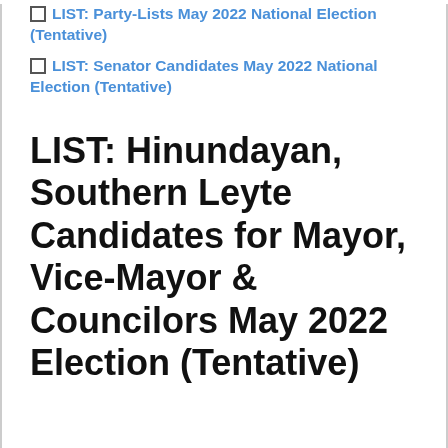LIST: Party-Lists May 2022 National Election (Tentative)
LIST: Senator Candidates May 2022 National Election (Tentative)
LIST: Hinundayan, Southern Leyte Candidates for Mayor, Vice-Mayor & Councilors May 2022 Election (Tentative)